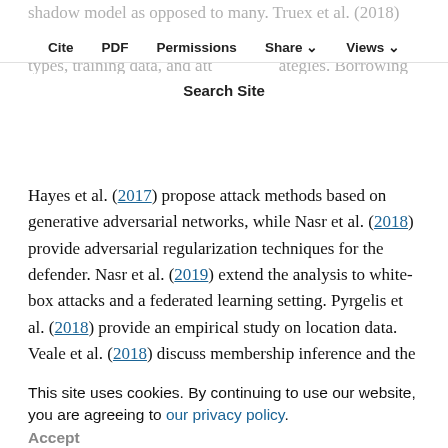shadow model as opposed to many. Truex et al. (2018) present a comprehensive evaluation of different model types, training data, and attaching strategies. Borrowing ideas from adversarial learning and minimax games,
Cite   PDF   Permissions   Share   Views   Search Site
Hayes et al. (2017) propose attack methods based on generative adversarial networks, while Nasr et al. (2018) provide adversarial regularization techniques for the defender. Nasr et al. (2019) extend the analysis to white-box attacks and a federated learning setting. Pyrgelis et al. (2018) provide an empirical study on location data. Veale et al. (2018) discuss membership inference and the related model inversion problem, in the context of data protection laws like GDPR.
This site uses cookies. By continuing to use our website, you are agreeing to our privacy policy. Accept
Shokri et al. (2017) note a synergistic connection between the goals of learning and the goals of privacy in the case of membership inference. The goal of